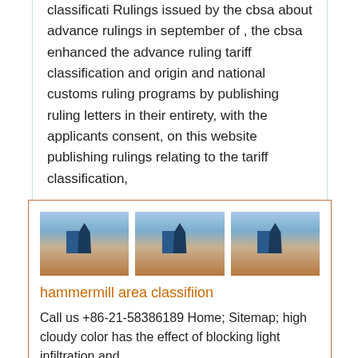classificati Rulings issued by the cbsa about advance rulings in september of , the cbsa enhanced the advance ruling tariff classification and origin and national customs ruling programs by publishing ruling letters in their entirety, with the applicants consent, on this website publishing rulings relating to the tariff classification,
Get Price
[Figure (photo): Three identical photos of an industrial machine (hammermill/industrial equipment) on a red dirt landscape with blue sky]
hammermill area classifiion
Call us +86-21-58386189 Home; Sitemap; high cloudy color has the effect of blocking light infiltration and